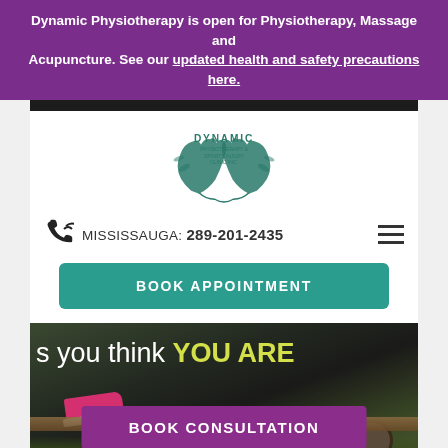Dynamic Physiotherapy is open for Physiotherapy, Massage and Acupuncture. See our updated health and safety precautions here.
[Figure (logo): Dynamic Physiotherapy & Sports Injury Clinic Inc. logo with two hands and text]
MISSISSAUGA: 289-201-2435
BOOK APPOINTMENT
[Figure (photo): Hero image of runners/athletes with text 's you think YOU ARE' and a Book Consultation button]
BOOK CONSULTATION